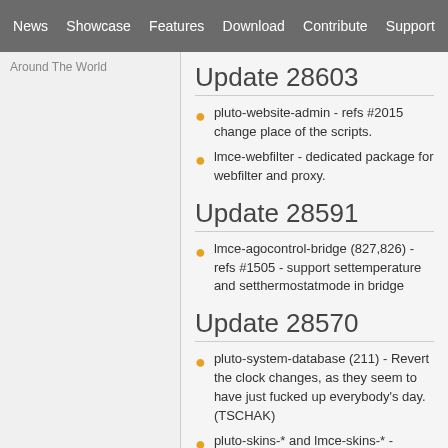News | Showcase | Features | Download | Contribute | Support
Around The World
Update 28603
pluto-website-admin - refs #2015 change place of the scripts.
lmce-webfilter - dedicated package for webfilter and proxy.
Update 28591
lmce-agocontrol-bridge (827,826) - refs #1505 - support settemperature and setthermostatmode in bridge
Update 28570
pluto-system-database (211) - Revert the clock changes, as they seem to have just fucked up everybody's day. (TSCHAK)
pluto-skins-* and lmce-skins-* -